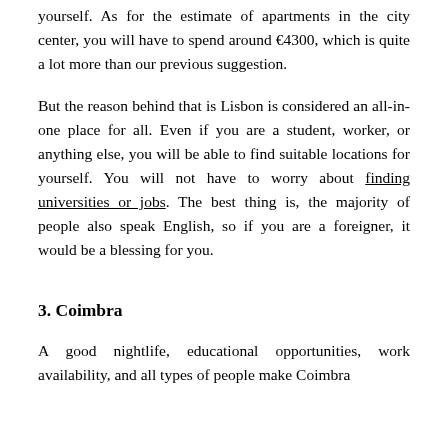yourself. As for the estimate of apartments in the city center, you will have to spend around €4300, which is quite a lot more than our previous suggestion.
But the reason behind that is Lisbon is considered an all-in-one place for all. Even if you are a student, worker, or anything else, you will be able to find suitable locations for yourself. You will not have to worry about finding universities or jobs. The best thing is, the majority of people also speak English, so if you are a foreigner, it would be a blessing for you.
3. Coimbra
A good nightlife, educational opportunities, work availability, and all types of people make Coimbra